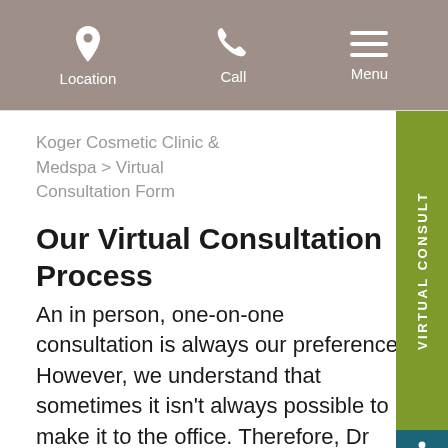Location | Call | Menu
Koger Cosmetic Clinic & Medspa > Virtual Consultation Form
Our Virtual Consultation Process
An in person, one-on-one consultation is always our preference. However, we understand that sometimes it isn't always possible to make it to the office. Therefore, Dr Kim E. Koger is